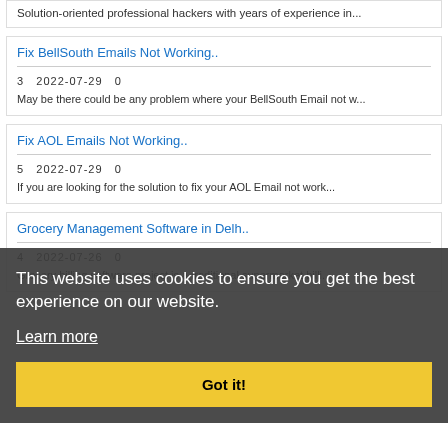Solution-oriented professional hackers with years of experience in...
Fix BellSouth Emails Not Working..
3   2022-07-29   0
May be there could be any problem where your BellSouth Email not w...
Fix AOL Emails Not Working..
5   2022-07-29   0
If you are looking for the solution to fix your AOL Email not work...
Grocery Management Software in Delh..
4   2022-07-26   0
Grocery billing software project is a traditional supermarket billi...
[Figure (screenshot): Cookie consent overlay with dark semi-transparent background. Text reads: 'This website uses cookies to ensure you get the best experience on our website.' with 'Learn more' link and yellow 'Got it!' button.]